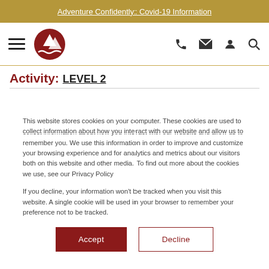Adventure Confidently: Covid-19 Information
[Figure (logo): Mountain logo with red circle and wave design, with hamburger menu icon on the left and phone, email, user, search icons on the right]
Activity: LEVEL 2
This website stores cookies on your computer. These cookies are used to collect information about how you interact with our website and allow us to remember you. We use this information in order to improve and customize your browsing experience and for analytics and metrics about our visitors both on this website and other media. To find out more about the cookies we use, see our Privacy Policy
If you decline, your information won't be tracked when you visit this website. A single cookie will be used in your browser to remember your preference not to be tracked.
Accept  Decline